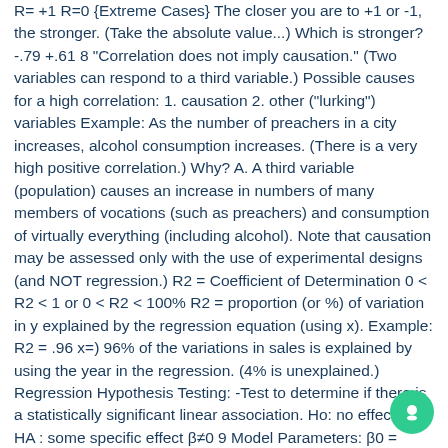R= +1 R=0 {Extreme Cases} The closer you are to +1 or -1, the stronger. (Take the absolute value...) Which is stronger? -.79 +.61 8 "Correlation does not imply causation." (Two variables can respond to a third variable.) Possible causes for a high correlation: 1. causation 2. other ("lurking") variables Example: As the number of preachers in a city increases, alcohol consumption increases. (There is a very high positive correlation.) Why? A. A third variable (population) causes an increase in numbers of many members of vocations (such as preachers) and consumption of virtually everything (including alcohol). Note that causation may be assessed only with the use of experimental designs (and NOT regression.) R2 = Coefficient of Determination 0 < R2 < 1 or 0 < R2 < 100% R2 = proportion (or %) of variation in y explained by the regression equation (using x). Example: R2 = .96 x=) 96% of the variations in sales is explained by using the year in the regression. (4% is unexplained.) Regression Hypothesis Testing: -Test to determine if there is a statistically significant linear association. Ho: no effect β= 0 HA : some specific effect β≠0 9 Model Parameters: β0 = model y-intercept—estimated by a β1 = model slope—estimated by b